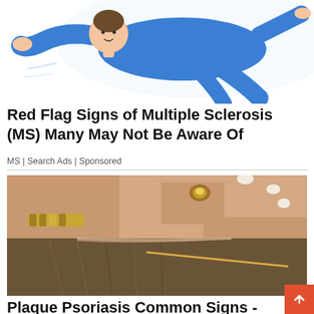[Figure (illustration): Illustration of a person in blue clothing, lying or floating, suggesting fatigue or neurological symptoms related to Multiple Sclerosis]
Red Flag Signs of Multiple Sclerosis (MS) Many May Not Be Aware Of
MS | Search Ads | Sponsored
[Figure (photo): Close-up photo of hands parting a person's hair at the scalp, one hand wearing a bracelet and ring, illustrating scalp examination relevant to Plaque Psoriasis]
Plaque Psoriasis Common Signs - Most